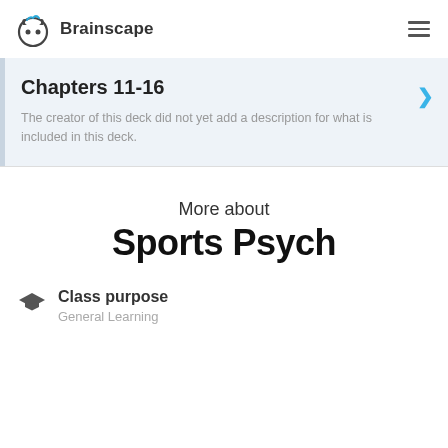[Figure (logo): Brainscape logo with brain/owl icon and text 'Brainscape']
Chapters 11-16
The creator of this deck did not yet add a description for what is included in this deck.
More about
Sports Psych
Class purpose
General Learning